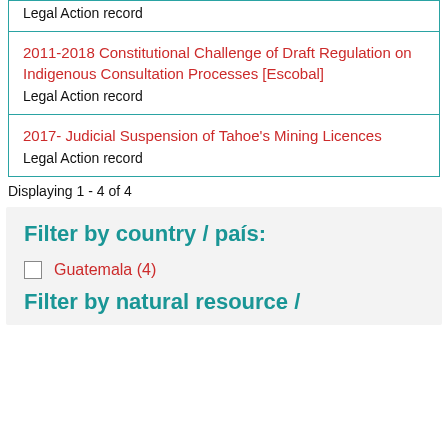| Legal Action record |
| 2011-2018 Constitutional Challenge of Draft Regulation on Indigenous Consultation Processes [Escobal] | Legal Action record |
| 2017- Judicial Suspension of Tahoe's Mining Licences | Legal Action record |
Displaying 1 - 4 of 4
Filter by country / país:
Guatemala (4)
Filter by natural resource /